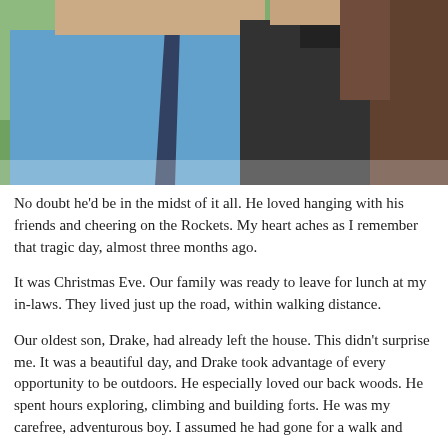[Figure (photo): A man wearing a light blue dress shirt and dark navy tie standing next to a woman wearing a dark/black polo shirt. Both are photographed from roughly the shoulders up. Green foliage is visible in the background.]
No doubt he'd be in the midst of it all. He loved hanging with his friends and cheering on the Rockets. My heart aches as I remember that tragic day, almost three months ago.
It was Christmas Eve. Our family was ready to leave for lunch at my in-laws. They lived just up the road, within walking distance.
Our oldest son, Drake, had already left the house. This didn't surprise me. It was a beautiful day, and Drake took advantage of every opportunity to be outdoors. He especially loved our back woods. He spent hours exploring, climbing and building forts. He was my carefree, adventurous boy. I assumed he had gone for a walk and